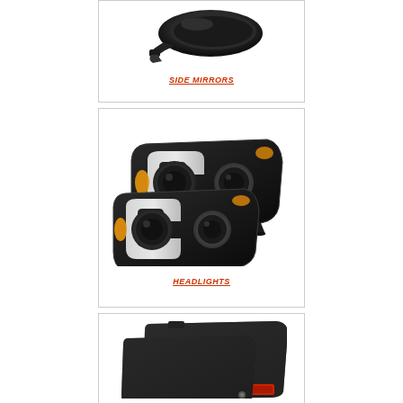[Figure (photo): Black automotive side mirror product photo on white background]
SIDE MIRRORS
[Figure (photo): Pair of black projector headlights with U-bar LED DRL styling on white background]
HEADLIGHTS
[Figure (photo): Black rubber all-weather floor mats with ribbed texture on white background]